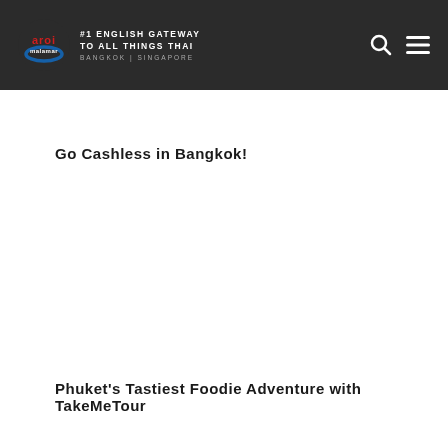aroi malamar #1 ENGLISH GATEWAY TO ALL THINGS THAI BANGKOK | SINGAPORE
Go Cashless in Bangkok!
Phuket's Tastiest Foodie Adventure with TakeMeTour